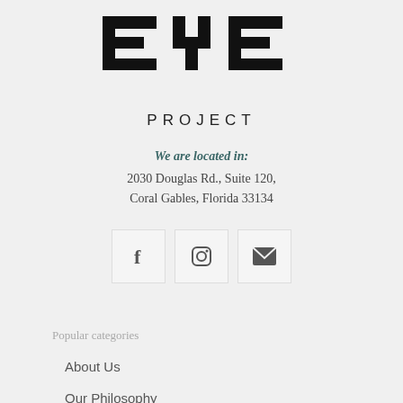[Figure (logo): Eye Project logo — stylized letters 'eye' in a blocky digital/LCD font, all lowercase, black on light background, followed by 'PROJECT' in spaced capitals below]
We are located in:
2030 Douglas Rd., Suite 120,
Coral Gables, Florida 33134
[Figure (infographic): Three icon boxes side by side: Facebook 'f' icon, Instagram camera icon, envelope/email icon]
Popular categories
About Us
Our Philosophy
Brands